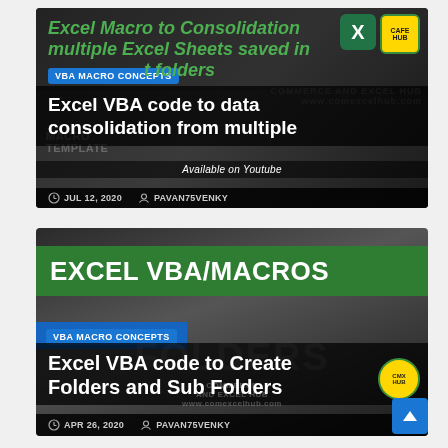[Figure (screenshot): Blog post thumbnail: Excel Macro to Consolidation multiple Excel Sheets saved in folders. Shows VBA MACRO CONCEPTS badge, date JUL 12, 2020, author PAVAN75VENKY. Article title: Excel VBA code to data consolidation from multiple.]
[Figure (screenshot): Blog post thumbnail: EXCEL VBA/MACROS title in green bar. Shows VBA MACRO CONCEPTS badge. Article title: Excel VBA code to Create Folders and Sub Folders. Date APR 26, 2020, author PAVAN75VENKY.]